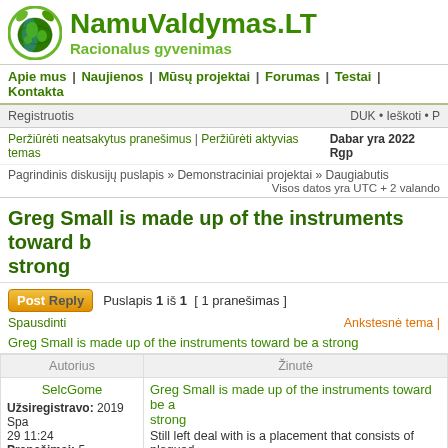[Figure (logo): NamuValdymas.LT website logo with green globe and leaves icon, site name in green bold text, slogan 'Racionalus gyvenimas' in lighter green]
Apie mus | Naujienos | Mūsų projektai | Forumas | Testai | Kontakta
Registruotis   DUK • Ieškoti • P
Peržiūrėti neatsakytus pranešimus | Peržiūrėti aktyvias temas   Dabar yra 2022 Rgp
Pagrindinis diskusijų puslapis » Demonstraciniai projektai » Daugiabutis
Visos datos yra UTC + 2 valando
Greg Small is made up of the instruments toward be a strong
Post Reply   Puslapis 1 iš 1  [ 1 pranešimas ]
Spausdinti   Ankstesnė tema |
Greg Small is made up of the instruments toward be a strong
| Autorius | Žinutė |
| --- | --- |
| SelcGome

Užsiregistravo: 2019 Spa 29 11:24
Pranešimai: 5 | Greg Small is made up of the instruments toward be a strong
Still left deal with is a placement that consists of plagued
Carolina Panthers at any time mainly because the retire
Jordan Gross again within 2014. Admirers comprise bee |